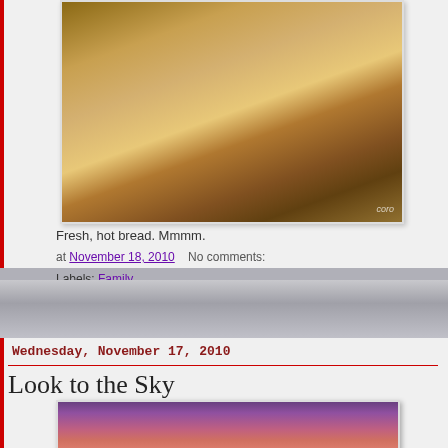[Figure (photo): Photo of hands slicing fresh bread on a wooden cutting board]
Fresh, hot bread. Mmmm.
at November 18, 2010   No comments:
Labels: Family
Wednesday, November 17, 2010
Look to the Sky
[Figure (photo): Photo of a dramatic red and purple sunset sky]